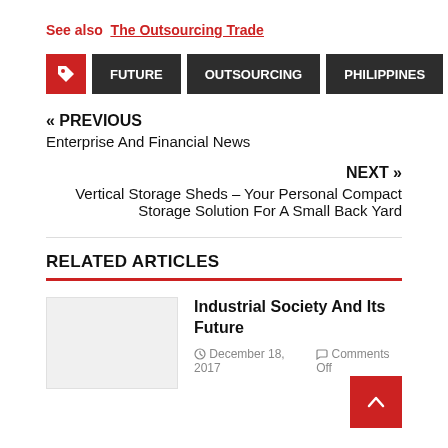See also  The Outsourcing Trade
FUTURE  OUTSOURCING  PHILIPPINES
« PREVIOUS
Enterprise And Financial News
NEXT »
Vertical Storage Sheds – Your Personal Compact Storage Solution For A Small Back Yard
RELATED ARTICLES
Industrial Society And Its Future
December 18, 2017   Comments Off